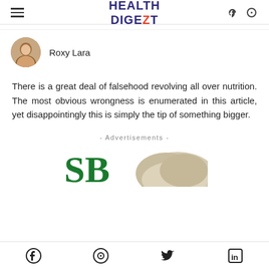HEALTH DIGEZT
Roxy Lara
There is a great deal of falsehood revolving all over nutrition. The most obvious wrongness is enumerated in this article, yet disappointingly this is simply the tip of something bigger.
- Advertisements -
[Figure (logo): Green stylized SB logo and partial product image]
Facebook, Pinterest, Twitter, LinkedIn social share icons